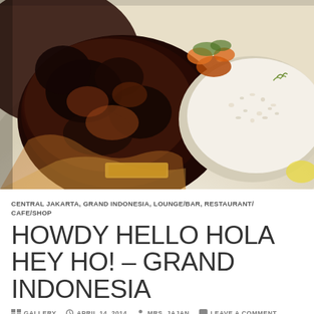[Figure (photo): Close-up food photo of grilled/charred meat (chicken or steak) on a white plate with white rice and vegetables (carrots, greens). The meat is dark and caramelized with a golden-brown crust.]
CENTRAL JAKARTA, GRAND INDONESIA, LOUNGE/BAR, RESTAURANT/CAFE/SHOP
HOWDY HELLO HOLA HEY HO! – GRAND INDONESIA
GALLERY   APRIL 14, 2014   MRS. JAJAN   LEAVE A COMMENT